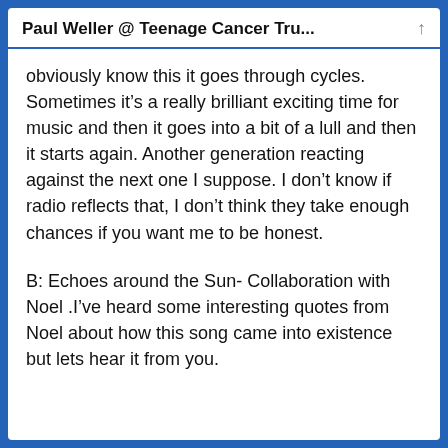Paul Weller @ Teenage Cancer Tru...
obviously know this it goes through cycles. Sometimes it’s a really brilliant exciting time for music and then it goes into a bit of a lull and then it starts again. Another generation reacting against the next one I suppose. I don’t know if radio reflects that, I don’t think they take enough chances if you want me to be honest.
B: Echoes around the Sun- Collaboration with Noel .I’ve heard some interesting quotes from Noel about how this song came into existence but lets hear it from you.